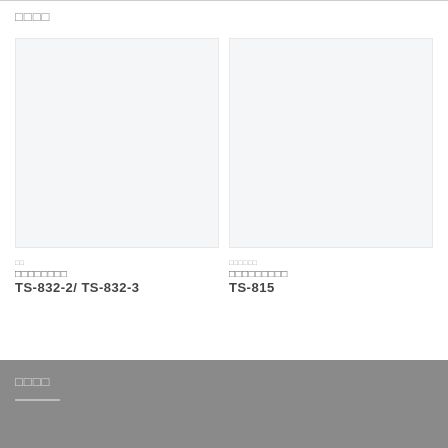□□□□
[Figure (photo): Product image placeholder left - light gray background, empty]
[Figure (photo): Product image placeholder right - light gray background, empty]
□□
□□□□□□□□
TS-832-2/ TS-832-3
□□□□□□
□□□□□□□□□
TS-815
□□□□